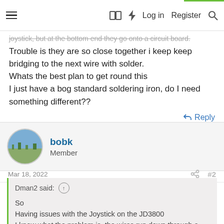≡  [book icon] [lightning icon]  Log in  Register  [search icon]
joystick, but at the bottom end they go onto a circuit board. Trouble is they are so close together i keep keep bridging to the next wire with solder.
Whats the best plan to get round this
I just have a bog standard soldering iron, do I need something different??
Reply
bobk
Member
Mar 18, 2022   #2
Dman2 said: ↑

So
Having issues with the Joystick on the JD3800
I know what the problem is, the wires run down through a center tube which has a pin going through it which has rubbed through said wires